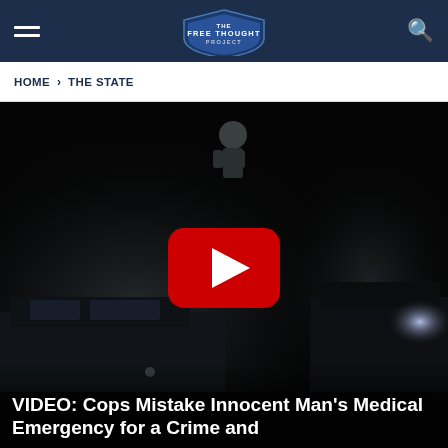THE FREE THOUGHT PROJECT
HOME > THE STATE
[Figure (screenshot): Dashcam video at night showing a police officer and dark vehicles, with a YouTube play button overlay in the center]
VIDEO: Cops Mistake Innocent Man's Medical Emergency for a Crime and